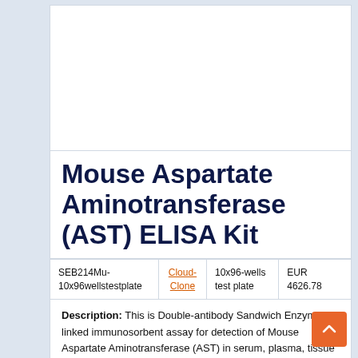[Figure (photo): Product image placeholder for Mouse Aspartate Aminotransferase (AST) ELISA Kit, grey rectangle with label text]
Mouse Aspartate Aminotransferase (AST) ELISA Kit
|  |  |  |  |
| --- | --- | --- | --- |
| SEB214Mu-10x96wellstestplate | Cloud-Clone | 10x96-wells test plate | EUR 4626.78 |
Description: This is Double-antibody Sandwich Enzyme-linked immunosorbent assay for detection of Mouse Aspartate Aminotransferase (AST) in serum, plasma, tissue